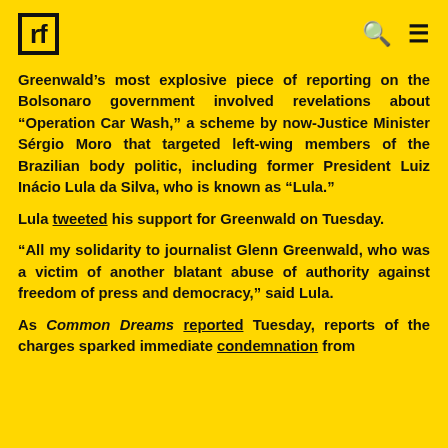rf [logo]
Greenwald’s most explosive piece of reporting on the Bolsonaro government involved revelations about “Operation Car Wash,” a scheme by now-Justice Minister Sérgio Moro that targeted left-wing members of the Brazilian body politic, including former President Luiz Inácio Lula da Silva, who is known as “Lula.”
Lula tweeted his support for Greenwald on Tuesday.
“All my solidarity to journalist Glenn Greenwald, who was a victim of another blatant abuse of authority against freedom of press and democracy,” said Lula.
As Common Dreams reported Tuesday, reports of the charges sparked immediate condemnation from